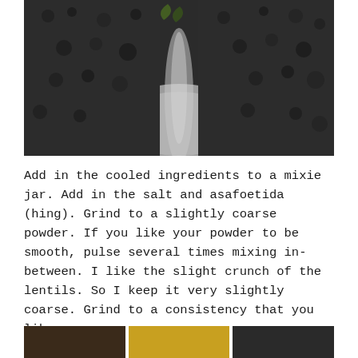[Figure (photo): Close-up photo of dark black seeds or spices, possibly black sesame or poppy seeds, in a white bowl, viewed from above. The seeds appear mounded with a slight valley/divot visible.]
Add in the cooled ingredients to a mixie jar. Add in the salt and asafoetida (hing). Grind to a slightly coarse powder. If you like your powder to be smooth, pulse several times mixing in-between. I like the slight crunch of the lentils. So I keep it very slightly coarse. Grind to a consistency that you like.
[Figure (photo): Three partial photos at the bottom of the page showing food preparation steps.]